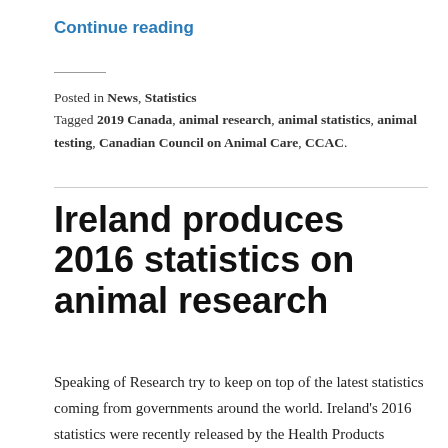Continue reading
Posted in News, Statistics
Tagged 2019 Canada, animal research, animal statistics, animal testing, Canadian Council on Animal Care, CCAC.
Ireland produces 2016 statistics on animal research
Speaking of Research try to keep on top of the latest statistics coming from governments around the world. Ireland's 2016 statistics were recently released by the Health Products Regulatory Authority of Ireland (HPRA). Ireland carried out 226,934 procedures on